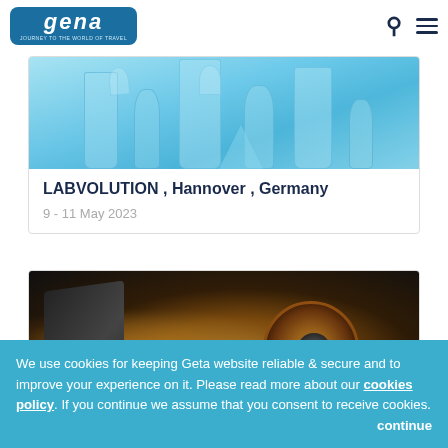Geta – Journey to the World of Travel
[Figure (photo): Laboratory glassware – beakers and flasks with blue liquid background]
LABVOLUTION , Hannover , Germany
9 - 11 May 2023
[Figure (photo): Industrial grinding wheel with sparks flying, close-up]
We use cookies for keeping Geta website reliable & secure and to improve your experience on it. Please read more about our cookies policy. If you continue we assume that you consent to receive cookies. continue